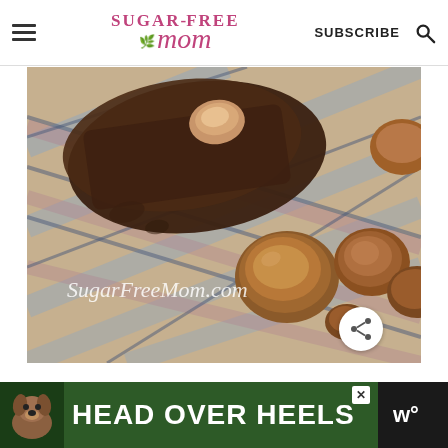Sugar-Free Mom | SUBSCRIBE
[Figure (photo): Close-up photo of chocolate hazelnut fudge pieces with hazelnuts on a plaid cloth. Watermark text 'SugarFreeMom.com' in white italic script at bottom left. Share button at bottom right.]
Brenda's Notes:
[Figure (photo): Advertisement banner: dark green background with a dog photo on the left and bold white text reading HEAD OVER HEELS. Close button at top right. Dark section on far right with white dots logo.]